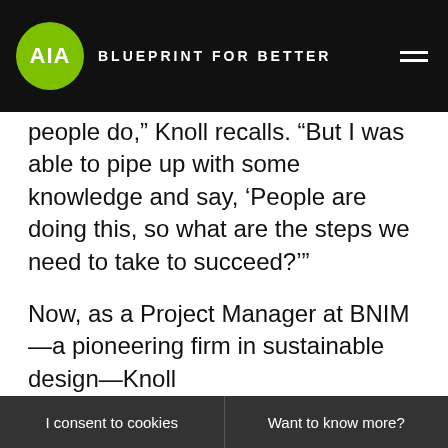AIA BLUEPRINT FOR BETTER
people do,” Knoll recalls. “But I was able to pipe up with some knowledge and say, ‘People are doing this, so what are the steps we need to take to succeed?’”

Now, as a Project Manager at BNIM—a pioneering firm in sustainable design—Knoll
We use cookies and other tracking technologies for performance, analytics, marketing, and more customized site experiences. By continuing to browse this site you are agreeing to our terms. Learn more about these in our Privacy Policy. AIA reserves the right to delete content and suspend user accounts that it determines to be inappropriate.
I consent to cookies
Want to know more?